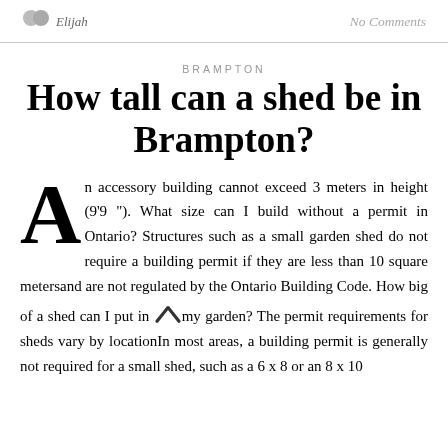Elijah   No Comments
BRAMPTON
How tall can a shed be in Brampton?
An accessory building cannot exceed 3 meters in height (9'9 "). What size can I build without a permit in Ontario? Structures such as a small garden shed do not require a building permit if they are less than 10 square metersand are not regulated by the Ontario Building Code. How big of a shed can I put in my garden? The permit requirements for sheds vary by locationIn most areas, a building permit is generally not required for a small shed, such as a 6 x 8 or an 8 x 10